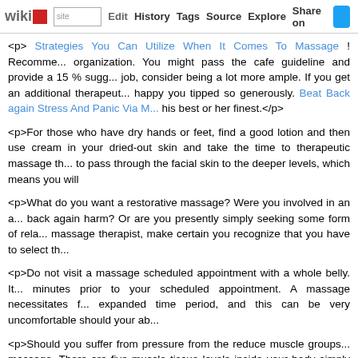wikidot | site Edit History Tags Source Explore Share on [twitter]
<p> Strategies You Can Utilize When It Comes To Massage ! Recomme... organization. You might pass the cafe guideline and provide a 15 % sugg... job, consider being a lot more ample. If you get an additional therapeut... happy you tipped so generously. Beat Back again Stress And Panic Via ... his best or her finest.</p>
<p>For those who have dry hands or feet, find a good lotion and then use cream in your dried-out skin and take the time to therapeutic massage th... to pass through the facial skin to the deeper levels, which means you will</p>
<p>What do you want a restorative massage? Were you involved in an a... back again harm? Or are you presently simply seeking some form of rela... massage therapist, make certain you recognize that you have to select th...</p>
<p>Do not visit a massage scheduled appointment with a whole belly. It... minutes prior to your scheduled appointment. A massage necessitates f... expanded time period, and this can be very uncomfortable should your ab...</p>
<p>Should you suffer from pressure from the reduce muscle groups... massage. There are five muscle tissue levels inside your body simply be... least expensive measure of muscle groups. Aches And Pains? Please R... Suggestions! is excellent should you play sports activities or have long... near future.</p>
<p>When offering a massage in your canine, it is necessary you sele... distractions and sound. This causes it to become less difficult for the pe... region for the dog to get massaged. This could be on a your bed, sofa or s...</p>
<p>Don't forget about that you are boss during the massage therapy a...